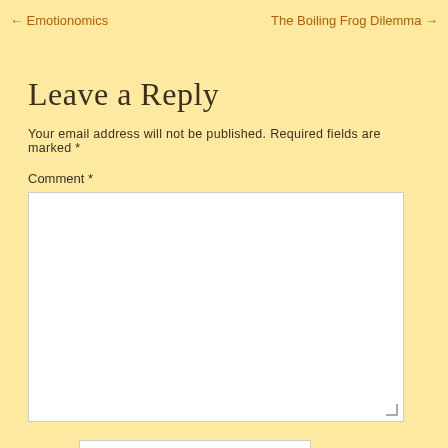← Emotionomics    The Boiling Frog Dilemma →
Leave a Reply
Your email address will not be published. Required fields are marked *
Comment *
Name *